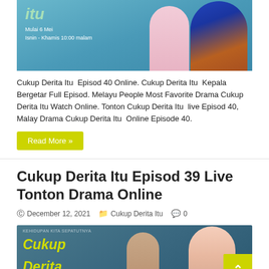[Figure (photo): Promotional image for Cukup Derita Itu drama with text overlay showing airing schedule and two cast members]
Cukup Derita Itu  Episod 40 Online. Cukup Derita Itu  Kepala Bergetar Full Episod. Melayu People Most Favorite Drama Cukup Derita Itu Watch Online. Tonton Cukup Derita Itu  live Episod 40, Malay Drama Cukup Derita Itu  Online Episode 40.
Read More »
Cukup Derita Itu Episod 39 Live Tonton Drama Online
December 12, 2021  Cukup Derita Itu  0
[Figure (photo): Promotional image for Cukup Derita Itu Episod 39 showing drama logo in yellow and cast members]